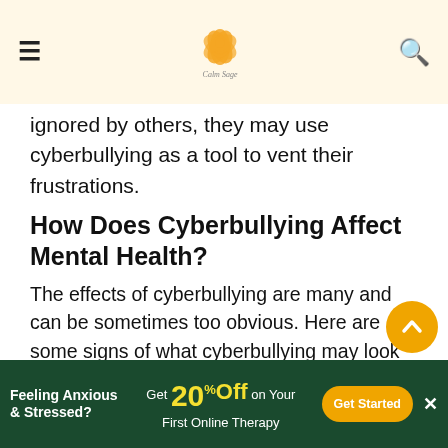Calm Sage
ignored by others, they may use cyberbullying as a tool to vent their frustrations.
How Does Cyberbullying Affect Mental Health?
The effects of cyberbullying are many and can be sometimes too obvious. Here are some signs of what cyberbullying may look like and how to identify if someone is being bullied:
Feeling distressed
Increased signs of depression and anxiety
Increased mood swings
Feeling Anxious & Stressed? Get 20% Off on Your First Online Therapy — Get Started